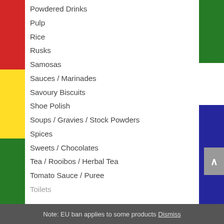Powdered Drinks
Pulp
Rice
Rusks
Samosas
Sauces / Marinades
Savoury Biscuits
Shoe Polish
Soups / Gravies / Stock Powders
Spices
Sweets / Chocolates
Tea / Rooibos / Herbal Tea
Tomato Sauce / Puree
Toilets
Note: EU ban applies to some products Dismiss